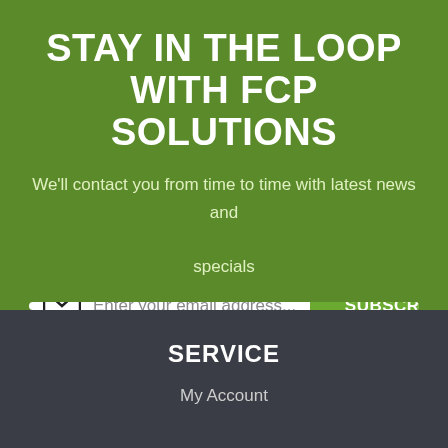STAY IN THE LOOP WITH FCP SOLUTIONS
We'll contact you from time to time with latest news and specials
[Figure (other): Email subscription form with envelope icon, placeholder text 'Enter your email address...' and a green SUBSCRIBE button]
SERVICE
My Account